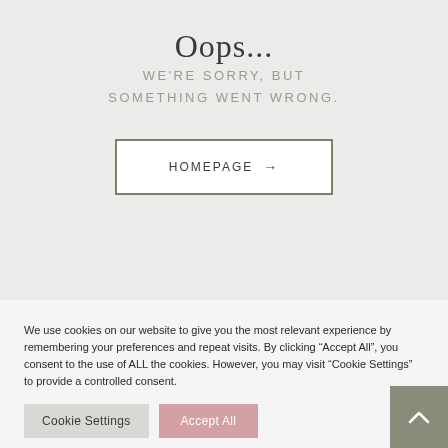Oops...
WE'RE SORRY, BUT SOMETHING WENT WRONG.
HOMEPAGE →
We use cookies on our website to give you the most relevant experience by remembering your preferences and repeat visits. By clicking "Accept All", you consent to the use of ALL the cookies. However, you may visit "Cookie Settings" to provide a controlled consent.
Cookie Settings
Accept All